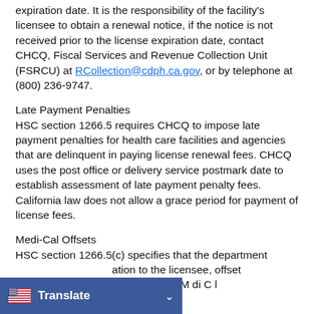expiration date. It is the responsibility of the facility's licensee to obtain a renewal notice, if the notice is not received prior to the license expiration date, contact CHCQ, Fiscal Services and Revenue Collection Unit (FSRCU) at RCollection@cdph.ca.gov, or by telephone at (800) 236-9747.
Late Payment Penalties
HSC section 1266.5 requires CHCQ to impose late payment penalties for health care facilities and agencies that are delinquent in paying license renewal fees. CHCQ uses the post office or delivery service postmark date to establish assessment of late payment penalty fees. California law does not allow a grace period for payment of license fees.
Medi-Cal Offsets
HSC section 1266.5(c) specifies that the department ation to the licensee, offset li b th M di C l
[Figure (screenshot): Translate button bar at bottom of screen showing US flag icon, 'Translate' text in white on blue background, and a chevron/dropdown arrow]